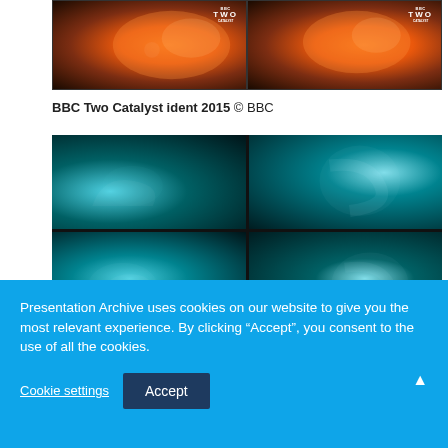[Figure (screenshot): BBC Two Catalyst ident 2015 — two side-by-side video frames showing fiery explosion with BBC Two logo overlay]
BBC Two Catalyst ident 2015 © BBC
[Figure (screenshot): BBC Two ident — four video frames in 2x2 grid showing mechanical/robotic BBC Two logo in teal/dark tones]
Presentation Archive uses cookies on our website to give you the most relevant experience. By clicking “Accept”, you consent to the use of all the cookies.